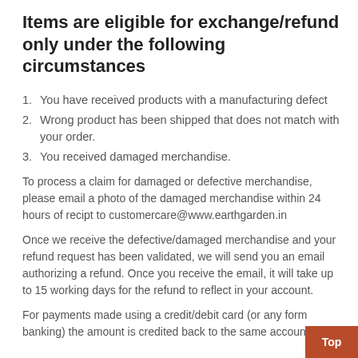Items are eligible for exchange/refund only under the following circumstances
You have received products with a manufacturing defect
Wrong product has been shipped that does not match with your order.
You received damaged merchandise.
To process a claim for damaged or defective merchandise, please email a photo of the damaged merchandise within 24 hours of recipt to customercare@www.earthgarden.in
Once we receive the defective/damaged merchandise and your refund request has been validated, we will send you an email authorizing a refund. Once you receive the email, it will take up to 15 working days for the refund to reflect in your account.
For payments made using a credit/debit card (or any form banking) the amount is credited back to the same account